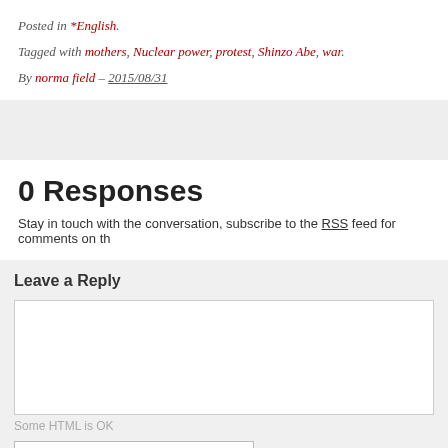Posted in *English.
Tagged with mothers, Nuclear power, protest, Shinzo Abe, war.
By norma field – 2015/08/31
0 Responses
Stay in touch with the conversation, subscribe to the RSS feed for comments on th
Leave a Reply
Some HTML is OK
Name (required)
Email (required)